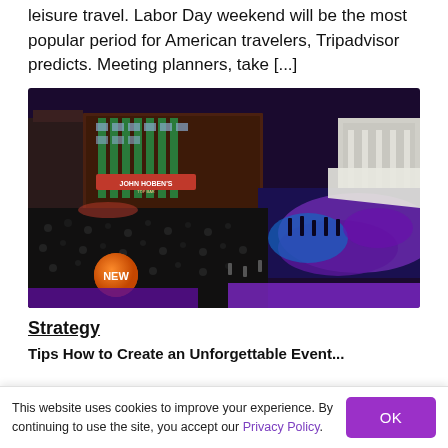leisure travel. Labor Day weekend will be the most popular period for American travelers, Tripadvisor predicts. Meeting planners, take [...]
[Figure (photo): Aerial night view of a crowded street festival with illuminated storefronts, a large crowd, a stage with purple/blue lighting and performers, and a glowing orange balloon with 'NEW' text visible in the lower left.]
Strategy
Tips How to Create an Unforgettable Event...